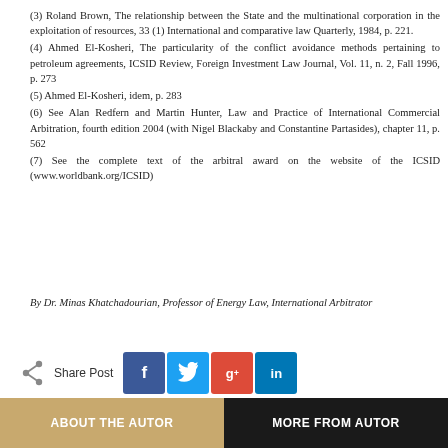(3) Roland Brown, The relationship between the State and the multinational corporation in the exploitation of resources, 33 (1) International and comparative law Quarterly, 1984, p. 221.
(4) Ahmed El-Kosheri, The particularity of the conflict avoidance methods pertaining to petroleum agreements, ICSID Review, Foreign Investment Law Journal, Vol. 11, n. 2, Fall 1996, p. 273
(5) Ahmed El-Kosheri, idem, p. 283
(6) See Alan Redfern and Martin Hunter, Law and Practice of International Commercial Arbitration, fourth edition 2004 (with Nigel Blackaby and Constantine Partasides), chapter 11, p. 562
(7) See the complete text of the arbitral award on the website of the ICSID (www.worldbank.org/ICSID)
By Dr. Minas Khatchadourian, Professor of Energy Law, International Arbitrator
[Figure (infographic): Share Post buttons: Facebook (blue), Twitter (cyan), Google+ (red), LinkedIn (blue)]
[Figure (infographic): Two buttons: ABOUT THE AUTOR (tan/gold background) and MORE FROM AUTOR (black background)]